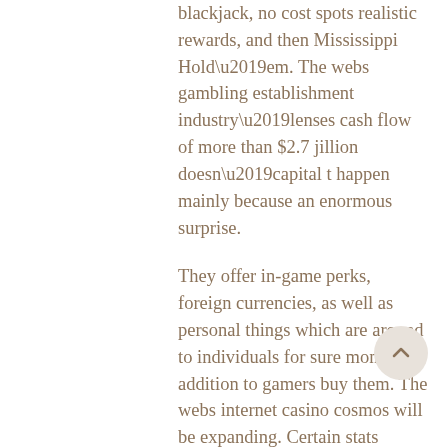blackjack, no cost spots realistic rewards, and then Mississippi Hold’em. The webs gambling establishment industry’lenses cash flow of more than $2.7 jillion doesn’capital t happen mainly because an enormous surprise.
They offer in-game perks, foreign currencies, as well as personal things which are around to individuals for sure money. In addition to gamers buy them. The webs internet casino cosmos will be expanding. Certain stats articulate that 14% for internet bettors wager at the least at least an hour in a daily basis. It indicates this kind of is simply the starting point and it also has a lot of extent for the purpose of increasing online. Do not delay-understand on